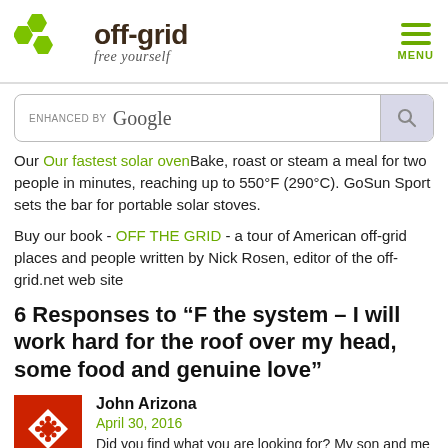off-grid free yourself | MENU
[Figure (logo): off-grid website logo with green hexagons and text 'off-grid free yourself']
Our Our fastest solar oven Bake, roast or steam a meal for two people in minutes, reaching up to 550°F (290°C). GoSun Sport sets the bar for portable solar stoves.
Buy our book - OFF THE GRID - a tour of American off-grid places and people written by Nick Rosen, editor of the off-grid.net web site
6 Responses to “F the system – I will work hard for the roof over my head, some food and genuine love”
John Arizona
April 30, 2016
Did you find what you are looking for? My son and me are looking to start or join and off-grid community